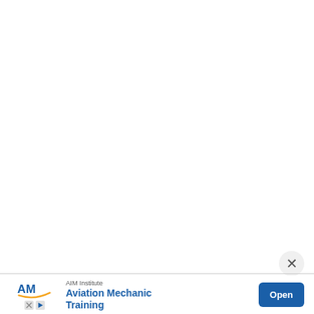[Figure (other): White blank area (main content area of a webpage, content not visible)]
[Figure (other): Close (X) button in a rounded circle, dark gray X symbol on light gray background]
[Figure (other): Advertisement banner for AIM Institute Aviation Mechanic Training. Contains AIM Institute logo with stylized 'AM' letters and orange swoosh, company name 'AIM Institute', ad title 'Aviation Mechanic Training', and a blue 'Open' button. Small X and play icons at bottom left.]